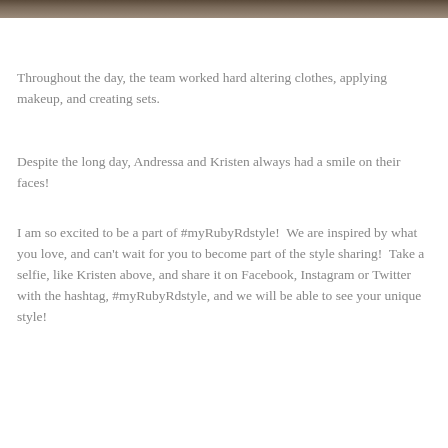[Figure (photo): Partial photo strip at the top of the page showing a dark brownish background, likely hair or clothing from a photo shoot.]
Throughout the day, the team worked hard altering clothes, applying makeup, and creating sets.
Despite the long day, Andressa and Kristen always had a smile on their faces!
I am so excited to be a part of #myRubyRdstyle!  We are inspired by what you love, and can't wait for you to become part of the style sharing!  Take a selfie, like Kristen above, and share it on Facebook, Instagram or Twitter with the hashtag, #myRubyRdstyle, and we will be able to see your unique style!